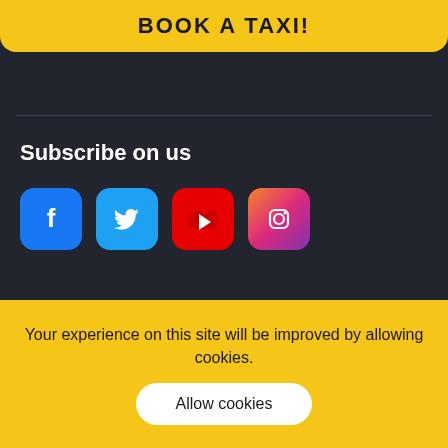BOOK A TAXI!
Subscribe on us
[Figure (infographic): Social media icons: Facebook (blue), Twitter (light blue), YouTube (red), Instagram (gradient purple-pink-orange)]
About
Customer service
Your experience on this site will be improved by allowing cookies.
Allow cookies